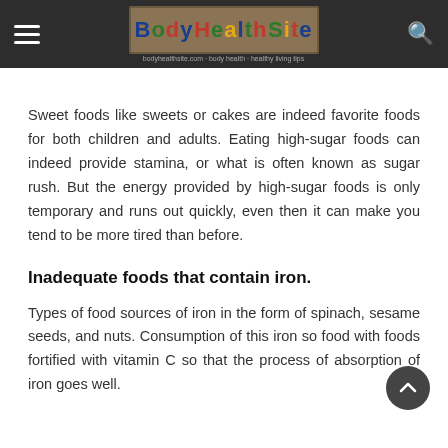Body Health Site
Sweet foods like sweets or cakes are indeed favorite foods for both children and adults. Eating high-sugar foods can indeed provide stamina, or what is often known as sugar rush. But the energy provided by high-sugar foods is only temporary and runs out quickly, even then it can make you tend to be more tired than before.
Inadequate foods that contain iron.
Types of food sources of iron in the form of spinach, sesame seeds, and nuts. Consumption of this iron source food with foods fortified with vitamin C so that the process of absorption of iron goes well.